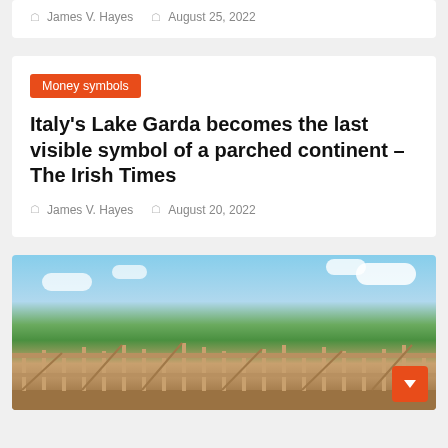James V. Hayes  August 25, 2022
Money symbols
Italy's Lake Garda becomes the last visible symbol of a parched continent – The Irish Times
James V. Hayes  August 20, 2022
[Figure (photo): Construction framing of a building structure with wooden lumber framing visible against a backdrop of green trees and a partly cloudy blue sky.]